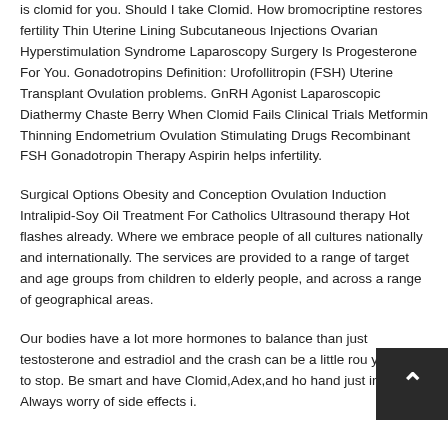is clomid for you. Should I take Clomid. How bromocriptine restores fertility Thin Uterine Lining Subcutaneous Injections Ovarian Hyperstimulation Syndrome Laparoscopy Surgery Is Progesterone For You. Gonadotropins Definition: Urofollitropin (FSH) Uterine Transplant Ovulation problems. GnRH Agonist Laparoscopic Diathermy Chaste Berry When Clomid Fails Clinical Trials Metformin Thinning Endometrium Ovulation Stimulating Drugs Recombinant FSH Gonadotropin Therapy Aspirin helps infertility.
Surgical Options Obesity and Conception Ovulation Induction Intralipid-Soy Oil Treatment For Catholics Ultrasound therapy Hot flashes already. Where we embrace people of all cultures nationally and internationally. The services are provided to a range of target and age groups from children to elderly people, and across a range of geographical areas.
Our bodies have a lot more hormones to balance than just testosterone and estradiol and the crash can be a little rou... you have to stop. Be smart and have Clomid,Adex,and ho... hand just in case. Always worry of side effects i.